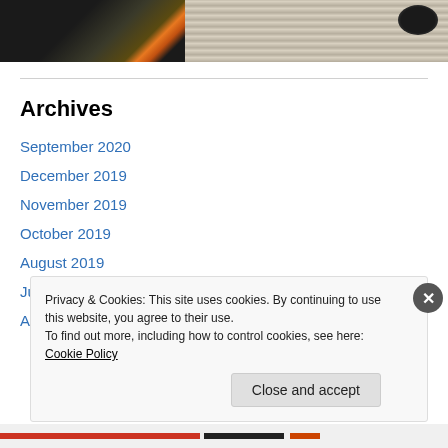[Figure (photo): Two photos side by side: left shows fire/flames on dark ground, right shows a textured woven or rocky surface with a dark object in upper right corner]
Archives
September 2020
December 2019
November 2019
October 2019
August 2019
July 2019
April 2019
Privacy & Cookies: This site uses cookies. By continuing to use this website, you agree to their use.
To find out more, including how to control cookies, see here: Cookie Policy
Close and accept